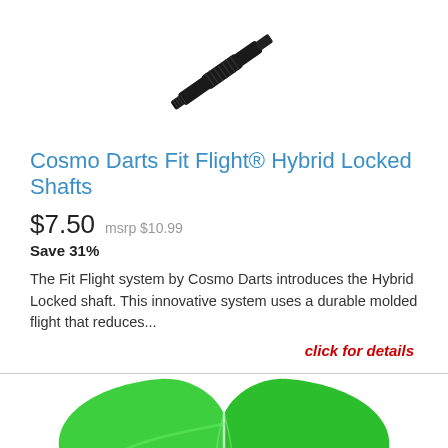[Figure (photo): Black dart shaft/tip product photo on white background]
Cosmo Darts Fit Flight® Hybrid Locked Shafts
$7.50  msrp $10.99
Save 31%
The Fit Flight system by Cosmo Darts introduces the Hybrid Locked shaft. This innovative system uses a durable molded flight that reduces...
click for details
[Figure (photo): Green dart flight/fin product photo on white background]